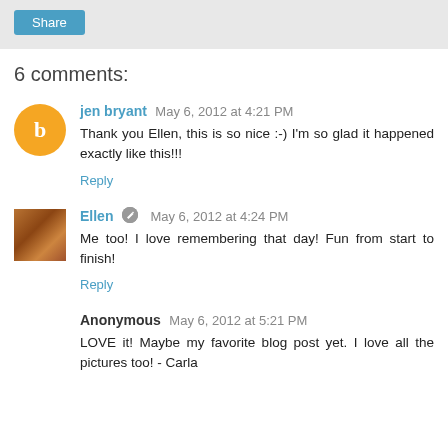Share
6 comments:
jen bryant May 6, 2012 at 4:21 PM
Thank you Ellen, this is so nice :-) I'm so glad it happened exactly like this!!!
Reply
Ellen May 6, 2012 at 4:24 PM
Me too! I love remembering that day! Fun from start to finish!
Reply
Anonymous May 6, 2012 at 5:21 PM
LOVE it! Maybe my favorite blog post yet. I love all the pictures too! - Carla